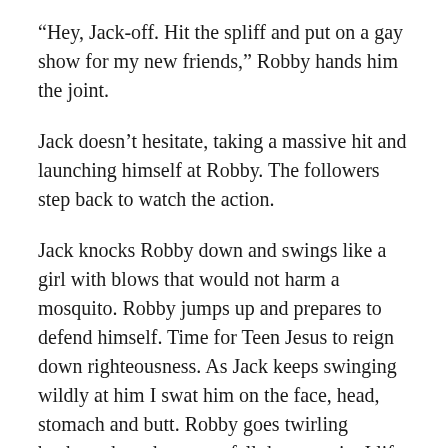“Hey, Jack-off. Hit the spliff and put on a gay show for my new friends,” Robby hands him the joint.
Jack doesn’t hesitate, taking a massive hit and launching himself at Robby. The followers step back to watch the action.
Jack knocks Robby down and swings like a girl with blows that would not harm a mosquito. Robby jumps up and prepares to defend himself. Time for Teen Jesus to reign down righteousness. As Jack keeps swinging wildly at him I swat him on the face, head, stomach and butt. Robby goes twirling backwards and starts to fall down again. I lift him off the ground and hold him against the cave’s wall. The stoners accept the fight as part of their stoned reality. Robby is used to not fighting back against a foe he cannot see. Jack is in shock, able to see me for the first time since Tim